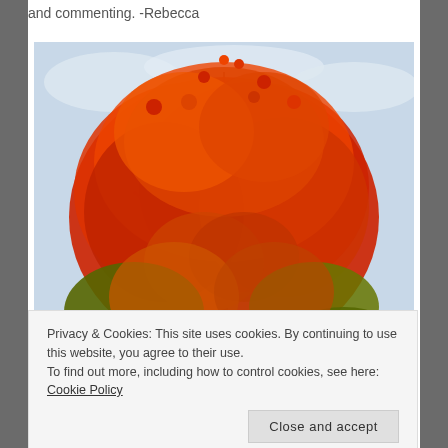and commenting. -Rebecca
[Figure (photo): A maple tree with brilliant red and orange autumn foliage against a light cloudy sky, with some green leaves visible at the lower portions of the tree.]
Privacy & Cookies: This site uses cookies. By continuing to use this website, you agree to their use.
To find out more, including how to control cookies, see here: Cookie Policy
[Figure (photo): Bottom portion of another autumn tree with green and orange foliage, partially visible at the very bottom of the page.]